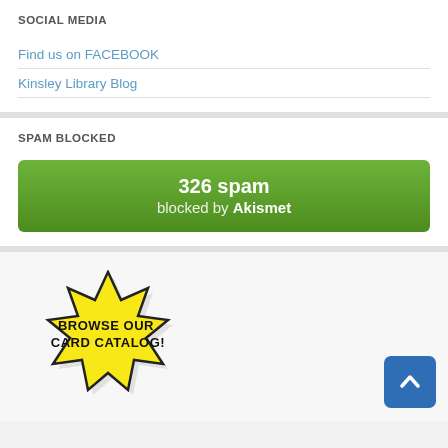SOCIAL MEDIA
Find us on FACEBOOK
Kinsley Library Blog
SPAM BLOCKED
[Figure (infographic): Green rounded rectangle button showing '326 spam blocked by Akismet']
[Figure (illustration): Yellow starburst badge with black text 'BROWSE OUR CARD CATALOG!' in comic style font with shadow]
[Figure (other): Blue rounded square scroll-to-top button with white upward chevron/arrow]